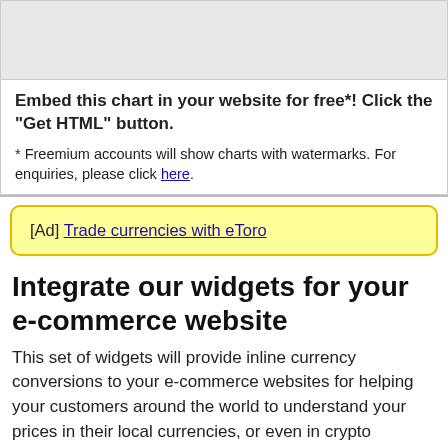[Figure (other): Gray placeholder box representing a chart embed area]
Embed this chart in your website for free*! Click the "Get HTML" button.
* Freemium accounts will show charts with watermarks. For enquiries, please click here.
[Ad] Trade currencies with eToro
Integrate our widgets for your e-commerce website
This set of widgets will provide inline currency conversions to your e-commerce websites for helping your customers around the world to understand your prices in their local currencies, or even in crypto currencies.